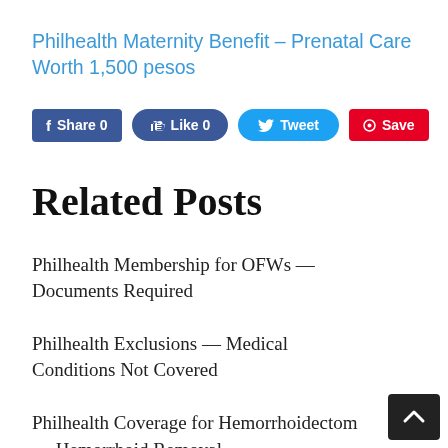Philhealth Maternity Benefit – Prenatal Care Worth 1,500 pesos
[Figure (other): Social sharing buttons: Facebook Share 0, Like 0, Tweet, Pinterest Save]
Related Posts
Philhealth Membership for OFWs — Documents Required
Philhealth Exclusions — Medical Conditions Not Covered
Philhealth Coverage for Hemorrhoidectomy — Hemorrhoid Removal